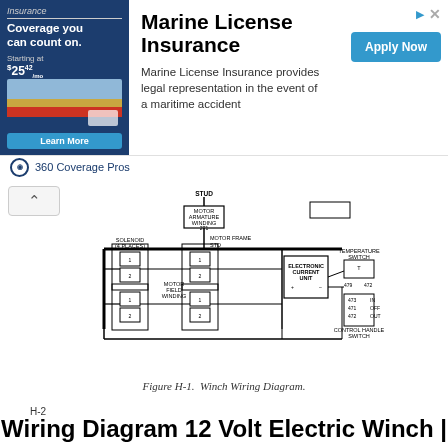[Figure (infographic): Marine License Insurance advertisement banner with boat image, 'Coverage you can count on. Starting at $25/mo. Learn More' on left, title 'Marine License Insurance' and description text in center, 'Apply Now' button on right, '360 Coverage Pros' branding]
[Figure (schematic): Winch wiring diagram showing solenoids (4 places), motor frame stud, motor armature winding, motor field winding, electronic current unit, temperature switch, control handle switch, and associated wiring connections]
Figure H-1. Winch Wiring Diagram.
H-2
Wiring Diagram 12 Volt Electric Winch |